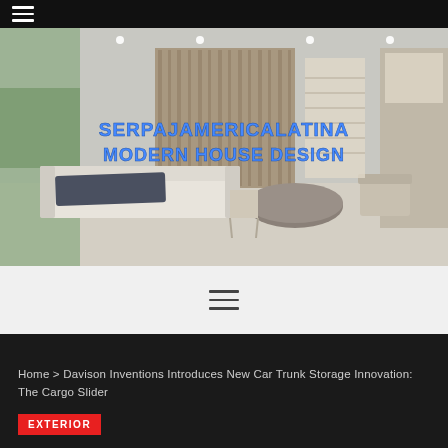☰
[Figure (photo): Modern luxury interior living room with large sofa, round coffee table, staircase in background, floor-to-ceiling windows, with overlay text reading SERPAJAMERICALATINA MODERN HOUSE DESIGN]
[Figure (other): Hamburger menu icon (three horizontal lines) on light grey background]
Home > Davison Inventions Introduces New Car Trunk Storage Innovation: The Cargo Slider
EXTERIOR